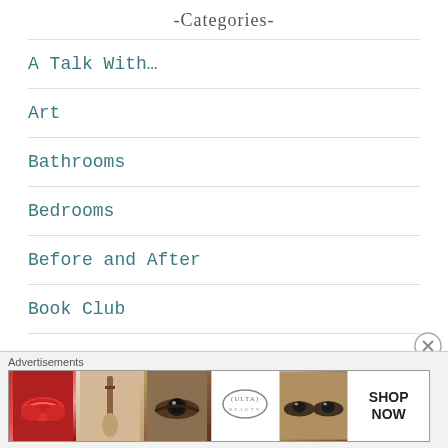-Categories-
A Talk With…
Art
Bathrooms
Bedrooms
Before and After
Book Club
[Figure (other): Ulta Beauty advertisement banner showing makeup imagery including lips, brush, eye, and ULTA logo with SHOP NOW call to action]